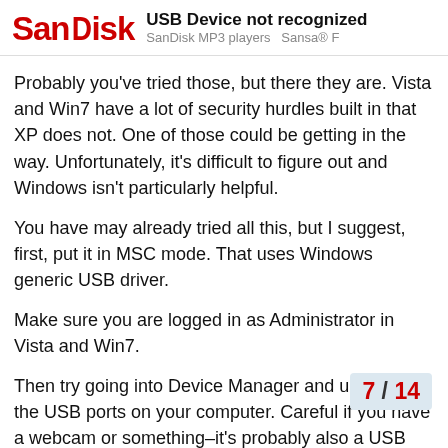SanDisk — USB Device not recognized — SanDisk MP3 players  Sansa® F
Probably you've tried those, but there they are. Vista and Win7 have a lot of security hurdles built in that XP does not. One of those could be getting in the way. Unfortunately, it's difficult to figure out and Windows isn't particularly helpful.
You have may already tried all this, but I suggest, first, put it in MSC mode. That uses Windows generic USB driver.
Make sure you are logged in as Administrator in Vista and Win7.
Then try going into Device Manager and uninstalling the USB ports on your computer. Careful if you have a webcam or something–it's probably also a USB device, and if you uninstall it you might have to install its driver again.
Reboot, Windows will discover its USB ports and reinstall the drivers.
Turn off your internet connection and turn